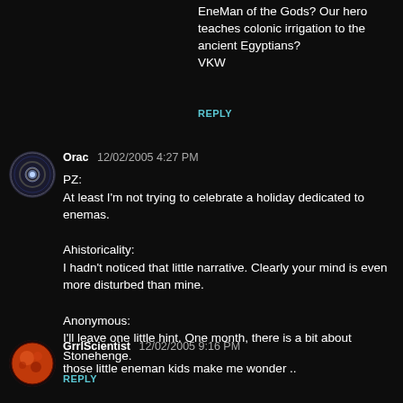EneMan of the Gods? Our hero teaches colonic irrigation to the ancient Egyptians?
VKW
REPLY
[Figure (photo): Round avatar image of Orac commenter, appears to be a sci-fi themed circular image with light/orb in center]
Orac   12/02/2005 4:27 PM
PZ:
At least I'm not trying to celebrate a holiday dedicated to enemas.

Ahistoricality:
I hadn't noticed that little narrative. Clearly your mind is even more disturbed than mine.

Anonymous:
I'll leave one little hint. One month, there is a bit about Stonehenge.
REPLY
[Figure (photo): Round avatar image of GrrlScientist commenter, appears to be a red/orange planet or Mars-like sphere]
GrrlScientist   12/02/2005 9:16 PM
those little eneman kids make me wonder ..